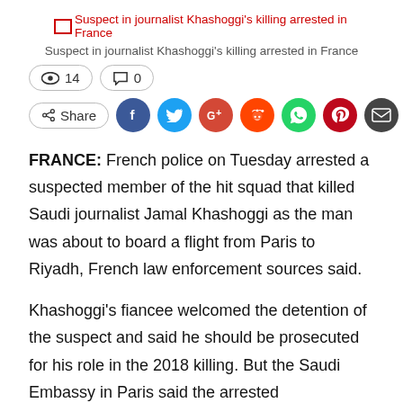[Figure (screenshot): Broken image placeholder with red link text: Suspect in journalist Khashoggi's killing arrested in France]
Suspect in journalist Khashoggi's killing arrested in France
👁 14   💬 0
Share [social icons: Facebook, Twitter, Google+, Reddit, WhatsApp, Pinterest, Email]
FRANCE: French police on Tuesday arrested a suspected member of the hit squad that killed Saudi journalist Jamal Khashoggi as the man was about to board a flight from Paris to Riyadh, French law enforcement sources said.
Khashoggi's fiancee welcomed the detention of the suspect and said he should be prosecuted for his role in the 2018 killing. But the Saudi Embassy in Paris said the arrested